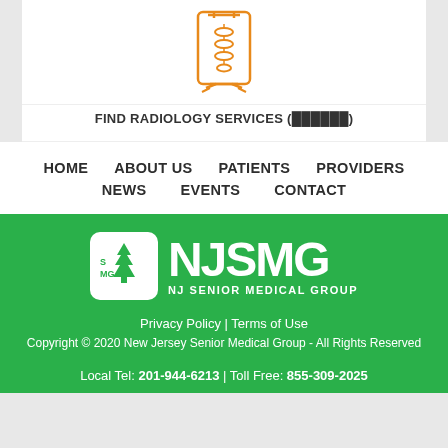[Figure (illustration): Radiology/X-ray icon in orange outline style showing a spine X-ray on a display panel]
FIND RADIOLOGY SERVICES (██████)
HOME   ABOUT US   PATIENTS   PROVIDERS   NEWS   EVENTS   CONTACT
[Figure (logo): NJ SMG - NJ Senior Medical Group logo, white on green background with tree icon]
Privacy Policy | Terms of Use
Copyright © 2020 New Jersey Senior Medical Group - All Rights Reserved
Local Tel: 201-944-6213 | Toll Free: 855-309-2025